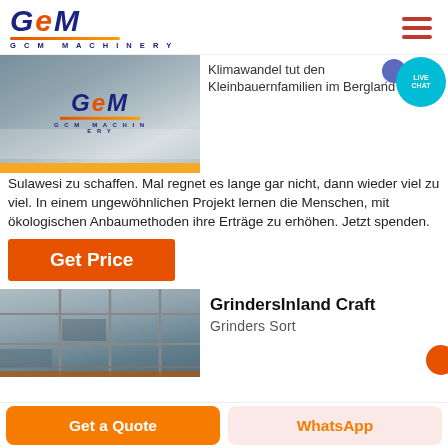[Figure (logo): GCM Machinery logo with blue italic text and orange underline]
[Figure (photo): GCM Machinery industrial equipment/machine image with logo overlay]
Klimawandel tut den Kleinbauernfamilien im Bergland von Sulawesi zu schaffen. Mal regnet es lange gar nicht, dann wieder viel zu viel. In einem ungewöhnlichen Projekt lernen die Menschen, mit ökologischen Anbaumethoden ihre Erträge zu erhöhen. Jetzt spenden.
Get Price
[Figure (photo): Construction scaffolding and building structure photo]
GrindersInland Craft
Grinders Sort
Get a Quote
WhatsApp